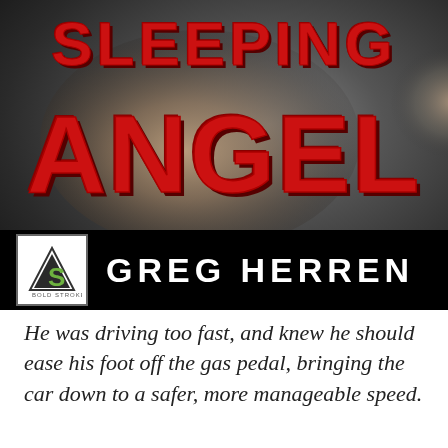[Figure (illustration): Book cover of 'Sleeping Angel' by Greg Herren. Black and white close-up photo of a person's bare back. The title 'SLEEPING' appears at the top in large red block letters, and 'ANGEL' appears below in even larger red block letters. A black bar at the bottom contains the publisher's logo (a green letter S with a mountain peak) and the author name 'GREG HERREN' in white capital letters.]
He was driving too fast, and knew he should ease his foot off the gas pedal, bringing the car down to a safer, more manageable speed.